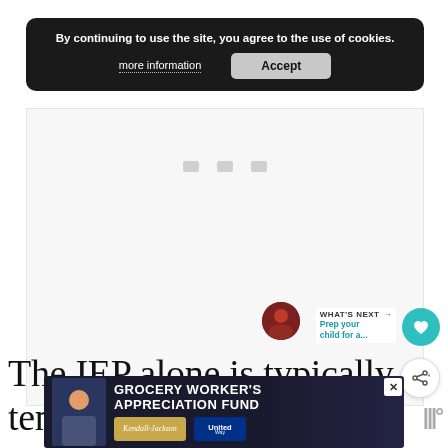By continuing to use the site, you agree to the use of cookies.
more information   Accept
[Figure (screenshot): Gray loading area with three small gray rectangles indicating loading state]
WHAT'S NEXT → Prep your child for a...
The IEP alone is typically ten twenty pages long, and that is just
[Figure (photo): Bottom advertisement banner: Grocery Worker's Appreciation Fund with Kendall-Jackson and United Way logos]